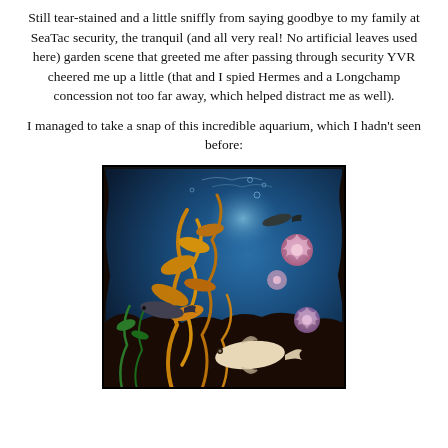Still tear-stained and a little sniffly from saying goodbye to my family at SeaTac security, the tranquil (and all very real! No artificial leaves used here) garden scene that greeted me after passing through security YVR cheered me up a little (that and I spied Hermes and a Longchamp concession not too far away, which helped distract me as well).
I managed to take a snap of this incredible aquarium, which I hadn't seen before:
[Figure (photo): Photograph of an aquarium tank showing fish, seaweed/kelp, sea anemones with pink flowers, and other marine life against a deep blue water background.]